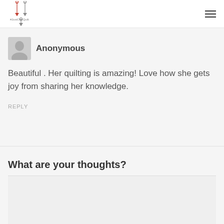#JustOneQuilt logo and navigation menu
Anonymous
Beautiful . Her quilting is amazing! Love how she gets joy from sharing her knowledge.
REPLY
What are your thoughts?